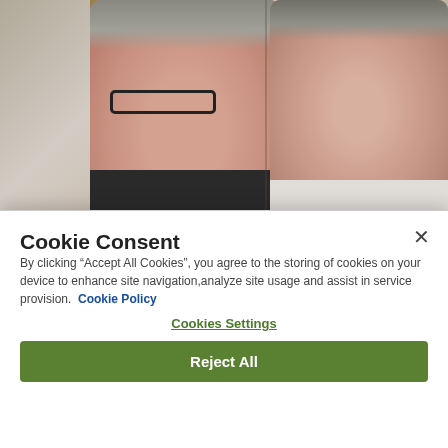[Figure (photo): Two men photographed side by side — the one on the left wears glasses and a dark suit, the one on the right is in a light top. Background includes wooden paneling.]
Cookie Consent
By clicking “Accept All Cookies”, you agree to the storing of cookies on your device to enhance site navigation,analyze site usage and assist in service provision.  Cookie Policy
Cookies Settings
Reject All